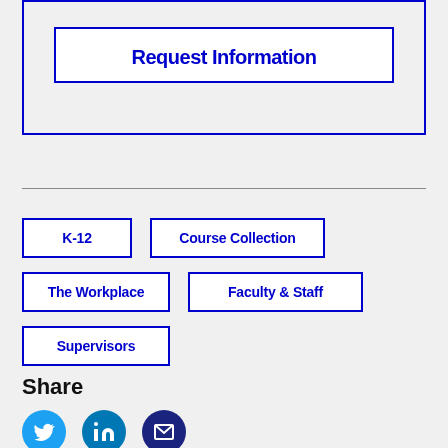Request Information
K-12
Course Collection
The Workplace
Faculty & Staff
Supervisors
Share